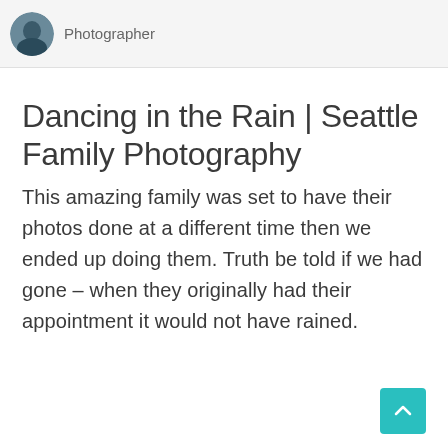Photographer
Dancing in the Rain | Seattle Family Photography
This amazing family was set to have their photos done at a different time then we ended up doing them. Truth be told if we had gone – when they originally had their appointment it would not have rained.